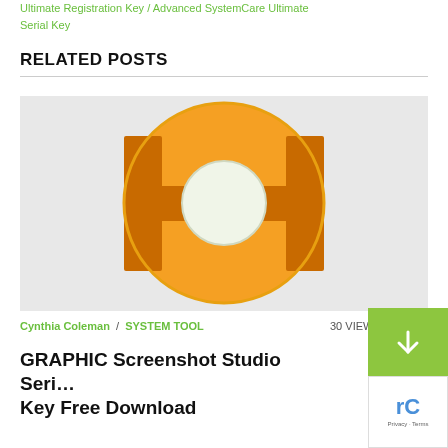Ultimate Registration Key / Advanced SystemCare Ultimate Serial Key
RELATED POSTS
[Figure (logo): Orange circular logo with an H-shaped design and white circle in the center, resembling a software product icon on a light background.]
Cynthia Coleman / SYSTEM TOOL   30 VIEWS
GRAPHIC Screenshot Studio Serial Key Free Download